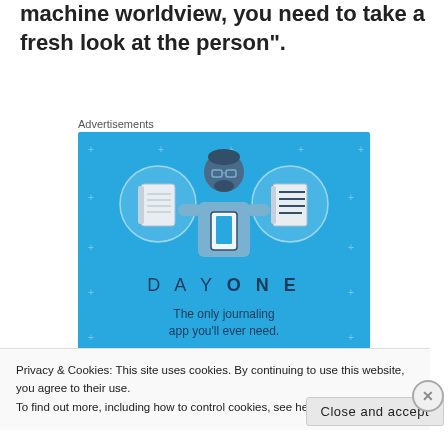machine worldview, you need to take a fresh look at the person".
Advertisements
[Figure (illustration): Day One journaling app advertisement. Blue background with illustration of a person holding a phone, flanked by two circular icons showing a notebook and a list. Text reads: DAY ONE - The only journaling app you'll ever need. Get the app button at bottom.]
Privacy & Cookies: This site uses cookies. By continuing to use this website, you agree to their use.
To find out more, including how to control cookies, see here: Cookie Policy
Close and accept